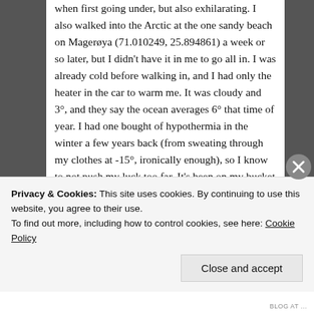when first going under, but also exhilarating. I also walked into the Arctic at the one sandy beach on Magerøya (71.010249, 25.894861) a week or so later, but I didn't have it in me to go all in. I was already cold before walking in, and I had only the heater in the car to warm me. It was cloudy and 3°, and they say the ocean averages 6° that time of year. I had one bought of hypothermia in the winter a few years back (from sweating through my clothes at -15°, ironically enough), so I know to not push my luck too far. It's been on my bucket list to swim in the Arctic, and I'm kicking myself for not doing it, so I have to go back one day.
Your Reddit post from today brought me here. I'm really enjoying your site so far. It's inspiring.
Privacy & Cookies: This site uses cookies. By continuing to use this website, you agree to their use.
To find out more, including how to control cookies, see here: Cookie Policy